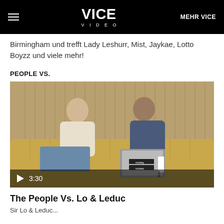VICE VIDEO | MEHR VICE
Birmingham und trefft Lady Leshurr, Mist, Jaykae, Lotto Boyzz und viele mehr!
PEOPLE VS.
[Figure (photo): Two men sitting on a gold tufted leather sofa. Left man has hair in a bun, wearing cream sweater and jeans. Right man wearing floral shirt, making a gesture with hands, with a laptop on his lap with 'noisey' and 'VICE' stickers. Play button overlay showing 3:30 duration.]
The People Vs. Lo & Leduc
Sir &amp; Lo &amp; Leduc...